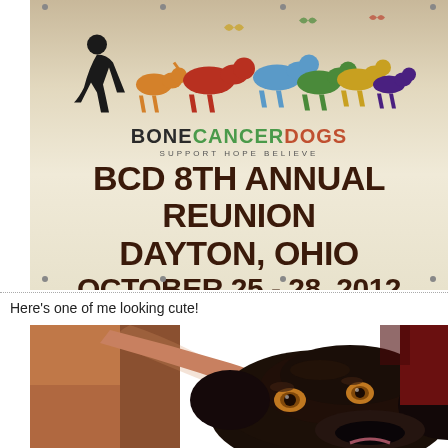[Figure (photo): A banner for BCD 8th Annual Reunion in Dayton, Ohio, October 25-28, 2012, with colorful dog silhouettes and a person kneeling. Text reads BONECANCERDOGS SUPPORT HOPE BELIEVE and event details.]
Here's one of me looking cute!
[Figure (photo): Close-up photo of a dark brown/black Labrador dog looking at the camera with amber/brown eyes, with a human hand petting its head.]